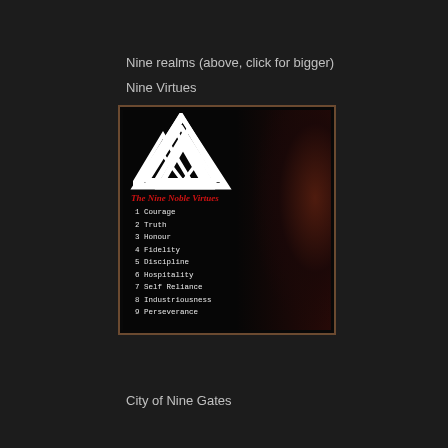Nine realms (above, click for bigger)
Nine Virtues
[Figure (illustration): Viking warrior wearing a metal helmet with long reddish hair and beard, overlaid with a Valknut symbol (three interlocked triangles) and text listing The Nine Noble Virtues: 1 Courage, 2 Truth, 3 Honour, 4 Fidelity, 5 Discipline, 6 Hospitality, 7 Self Reliance, 8 Industriousness, 9 Perseverance]
City of Nine Gates